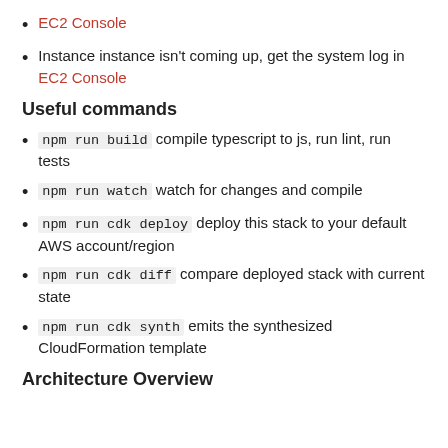EC2 Console
Instance instance isn't coming up, get the system log in EC2 Console
Useful commands
npm run build compile typescript to js, run lint, run tests
npm run watch watch for changes and compile
npm run cdk deploy deploy this stack to your default AWS account/region
npm run cdk diff compare deployed stack with current state
npm run cdk synth emits the synthesized CloudFormation template
Architecture Overview